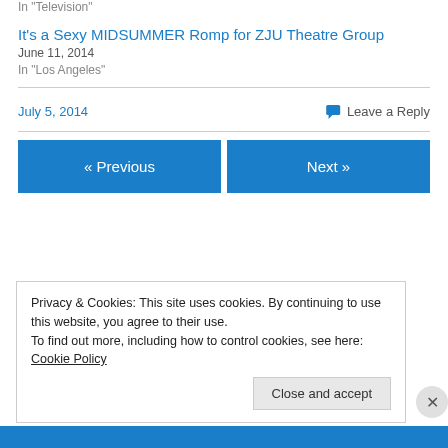In "Television"
It's a Sexy MIDSUMMER Romp for ZJU Theatre Group
June 11, 2014
In "Los Angeles"
July 5, 2014
Leave a Reply
« Previous
Next »
Privacy & Cookies: This site uses cookies. By continuing to use this website, you agree to their use.
To find out more, including how to control cookies, see here: Cookie Policy
Close and accept